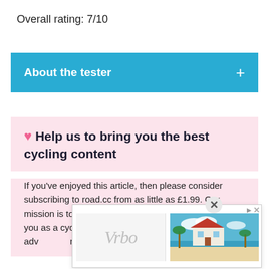Overall rating: 7/10
About the tester +
❤ Help us to bring you the best cycling content
If you've enjoyed this article, then please consider subscribing to road.cc from as little as £1.99. Our mission is to bring you all the news that's relevant to you as a cyclist, independent reviews, impartial buying advice and more.
[Figure (other): Vrbo advertisement overlay with beach house image]